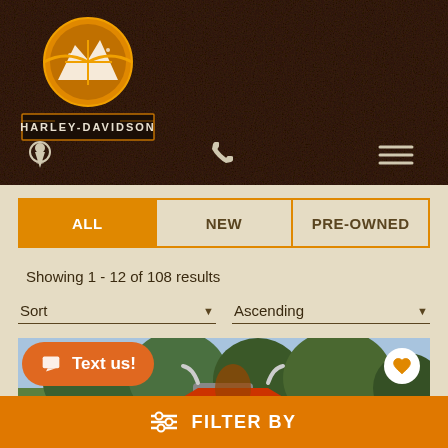[Figure (screenshot): High Country Harley-Davidson dealer website header with leather texture background, logo, location pin, phone, and menu icons]
ALL | NEW | PRE-OWNED
Showing 1 - 12 of 108 results
Sort   Ascending
[Figure (photo): Motorcycle (Harley-Davidson) parked outdoors with trees and blue sky in background]
Text us!
FILTER BY